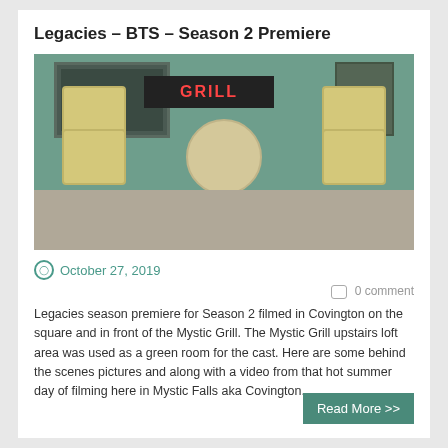Legacies – BTS – Season 2 Premiere
[Figure (photo): Outdoor patio of the Mystic Grill with two yellow wicker chairs and a round bistro table on stone flooring, green painted wall in background with a sign reading GRILL in red neon letters]
October 27, 2019
0 comment
Legacies season premiere for Season 2 filmed in Covington on the square and in front of the Mystic Grill. The Mystic Grill upstairs loft area was used as a green room for the cast. Here are some behind the scenes pictures and along with a video from that hot summer day of filming here in Mystic Falls aka Covington.
Read More >>